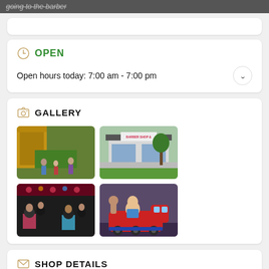going to the barber
OPEN
Open hours today: 7:00 am - 7:00 pm
GALLERY
[Figure (photo): Children playing in a colorful indoor play area with yellow structures]
[Figure (photo): Exterior of a barber shop and beauty salon building]
[Figure (photo): Inside a busy barber shop with stylists and customers]
[Figure (photo): Baby sitting in a red toy train ride-on during a haircut]
SHOP DETAILS